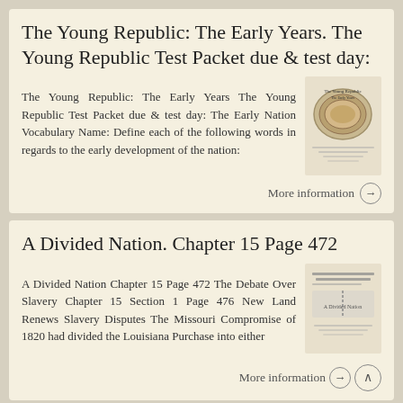The Young Republic: The Early Years. The Young Republic Test Packet due & test day:
The Young Republic: The Early Years The Young Republic Test Packet due & test day: The Early Nation Vocabulary Name: Define each of the following words in regards to the early development of the nation:
[Figure (illustration): Thumbnail image of The Young Republic book cover with decorative oval design]
More information →
A Divided Nation. Chapter 15 Page 472
A Divided Nation Chapter 15 Page 472 The Debate Over Slavery Chapter 15 Section 1 Page 476 New Land Renews Slavery Disputes The Missouri Compromise of 1820 had divided the Louisiana Purchase into either
[Figure (illustration): Thumbnail image of A Divided Nation book cover with text]
More information →